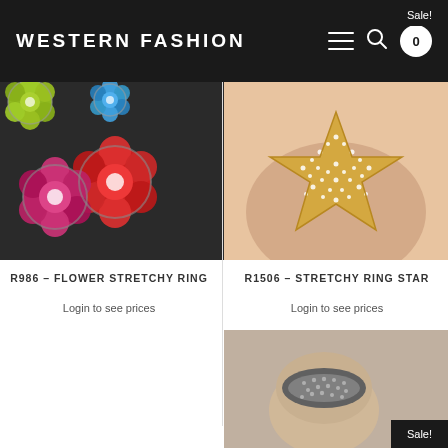WESTERN FASHION
[Figure (photo): Colorful flower-shaped stretchy rings in green, red, pink colors on dark background]
[Figure (photo): Star-shaped rhinestone ring with gold crystals held in hand]
R986 – FLOWER STRETCHY RING
Login to see prices
R1506 – STRETCHY RING STAR
Login to see prices
[Figure (photo): Gold pave ring on finger with Sale badge]
[Figure (photo): Dark crystal ring on finger with Sale badge]